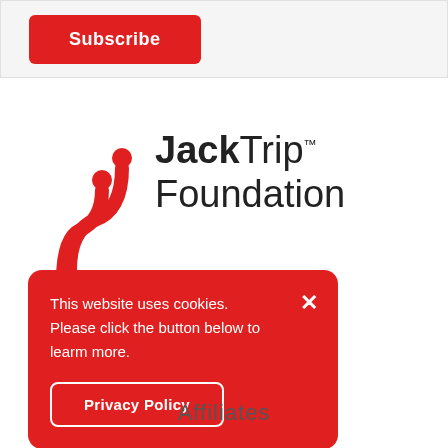[Figure (other): Subscribe button inside a light grey navigation bar at the top of the page]
[Figure (logo): JackTrip Foundation logo: red stylized cable/plug icon on the left, bold 'JackTrip' with TM superscript and 'Foundation' in lighter weight on the right]
[Figure (other): Red cookie consent banner overlay with text 'This website uses cookies. Please click the button below to learn more.' and a Privacy Policy button, plus an X close button]
Affiliates